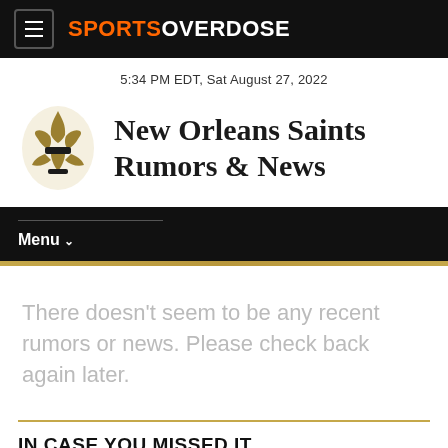SPORTSOVERDOSE
5:34 PM EDT, Sat August 27, 2022
New Orleans Saints Rumors & News
Menu
There doesn't seem to be any recent rumors or news. Please check back again later.
IN CASE YOU MISSED IT